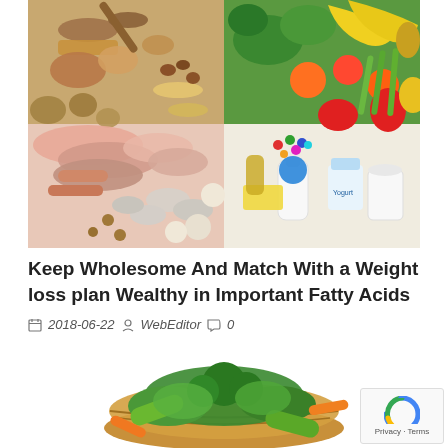[Figure (photo): Collage of various food groups: grains, breads, vegetables, fruits, meats, mushrooms, dairy products, oils arranged in a circular pattern on white background]
Keep Wholesome And Match With a Weight loss plan Wealthy in Important Fatty Acids
2018-06-22  WebEditor  0
[Figure (photo): A wicker basket filled with fresh green vegetables and produce including broccoli, cucumbers, and other vegetables]